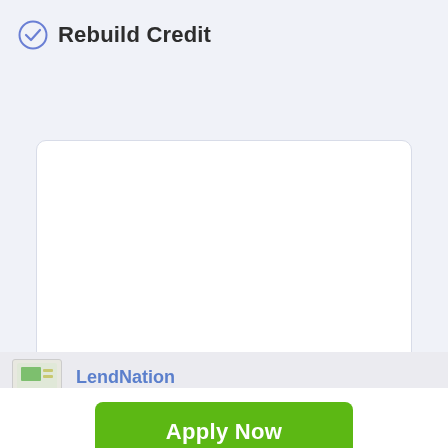Rebuild Credit
[Figure (screenshot): Empty white card/container area with a dark grey upload arrow button in the bottom-right corner]
LendNation
Apply Now
Applying does NOT affect your credit score!
No credit check to apply.